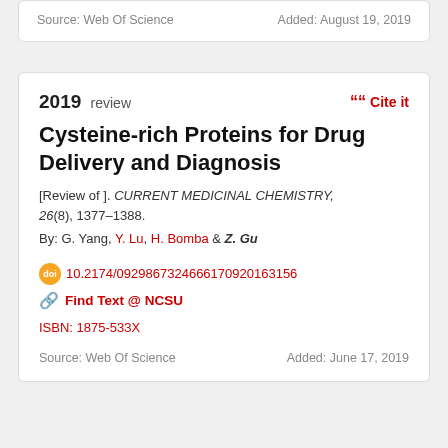Source: Web Of Science    Added: August 19, 2019
2019 review
Cite it
Cysteine-rich Proteins for Drug Delivery and Diagnosis
[Review of ]. CURRENT MEDICINAL CHEMISTRY, 26(8), 1377–1388.
By: G. Yang, Y. Lu, H. Bomba & Z. Gu
10.2174/0929867324666170920163156
Find Text @ NCSU
ISBN: 1875-533X
Source: Web Of Science    Added: June 17, 2019